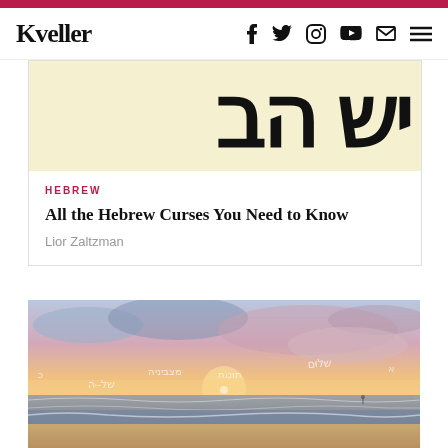Kveller — with social icons: f, twitter, instagram, youtube, email, menu
[Figure (illustration): Hebrew letters in bold black on yellow/cream background — partial letters visible: yod, shin, hey, bet]
HEBREW
All the Hebrew Curses You Need to Know
Lior Zaltzman
[Figure (photo): Beach sunset photo with Hebrew handwriting overlaid on the sky. Ocean waves in the foreground, warm orange and pink sunset sky with clouds.]